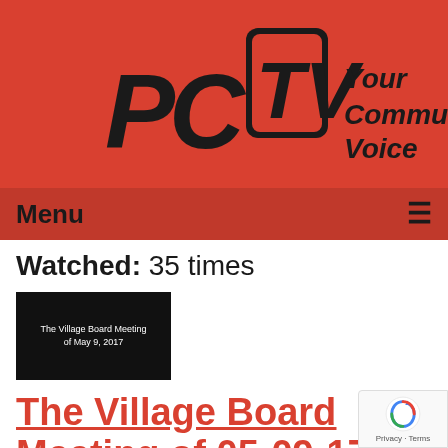[Figure (logo): PCTV logo with bold italic letters and tagline 'Your Community Voice' on red background]
Menu ≡
Watched: 35 times
[Figure (screenshot): Black thumbnail image with white text reading 'The Village Board Meeting of May 9, 2017']
The Village Board Meeting of 05-09-17
Airdate: 05/02/2017
Watched: 16 times